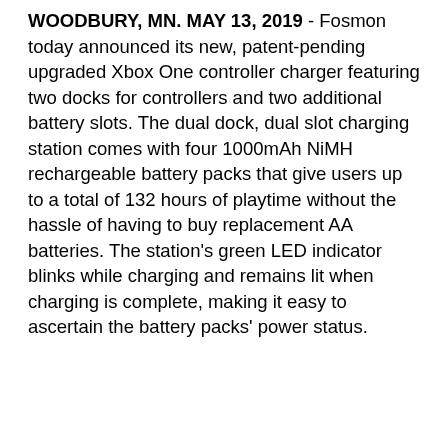WOODBURY, MN. MAY 13, 2019 - Fosmon today announced its new, patent-pending upgraded Xbox One controller charger featuring two docks for controllers and two additional battery slots. The dual dock, dual slot charging station comes with four 1000mAh NiMH rechargeable battery packs that give users up to a total of 132 hours of playtime without the hassle of having to buy replacement AA batteries. The station's green LED indicator blinks while charging and remains lit when charging is complete, making it easy to ascertain the battery packs' power status.